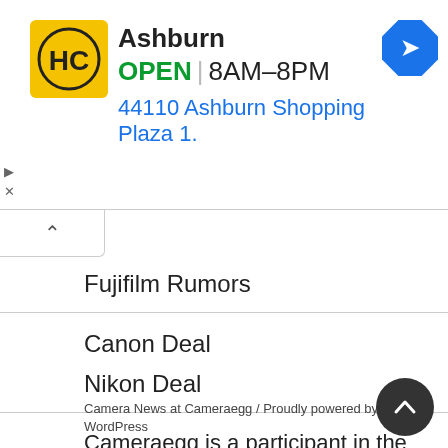[Figure (screenshot): Advertisement banner for hair care store in Ashburn. Shows HC logo (yellow/black), store name Ashburn, OPEN badge, hours 8AM-8PM, address 44110 Ashburn Shopping Plaza 1., and a blue navigation arrow icon.]
Fujifilm Rumors
Canon Deal
Nikon Deal
Contact Us
Camera News at Cameraegg / Proudly powered by WordPress
Cameraegg is a participant in the Amazon Services LLC Associates Program, an affiliate advertising program designed to